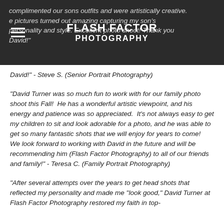Flash Factor Photography
complimented our sons outfits and were artistically creative. the pictures turned out amazing capturing my son's personality and style. Excellent photo shoot! Thank you David! - Steve S. (Senior Portrait Photography)
"David Turner was so much fun to work with for our family photo shoot this Fall!  He has a wonderful artistic viewpoint, and his energy and patience was so appreciated.  It's not always easy to get my children to sit and look adorable for a photo, and he was able to get so many fantastic shots that we will enjoy for years to come!  We look forward to working with David in the future and will be recommending him (Flash Factor Photography) to all of our friends and family!" - Teresa C. (Family Portrait Photography)
"After several attempts over the years to get head shots that reflected my personality and made me "look good," David Turner at Flash Factor Photography restored my faith in top-notch photography, and created an environment that allowed me to...